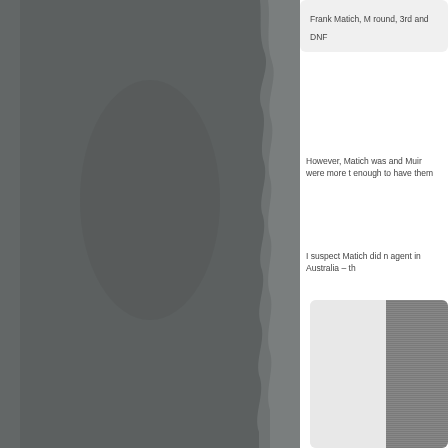[Figure (photo): Dark gray photograph of a person, left half of the page with a torn paper edge on the right side]
Frank Matich, M round, 3rd and DNF
However, Matich was and Muir were more t enough to have them
I suspect Matich did n agent in Australia – th
[Figure (photo): Partially visible image in a rounded box showing a light left portion and a striped/textured dark right portion]